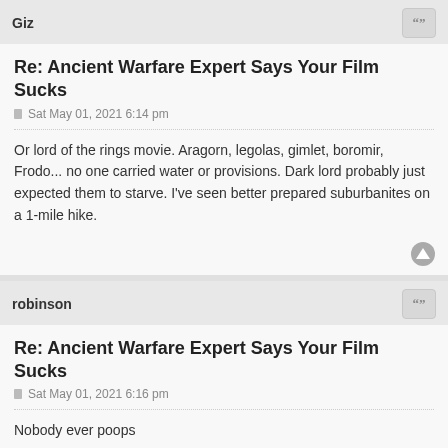Giz
Re: Ancient Warfare Expert Says Your Film Sucks
Sat May 01, 2021 6:14 pm
Or lord of the rings movie. Aragorn, legolas, gimlet, boromir, Frodo... no one carried water or provisions. Dark lord probably just expected them to starve. I've seen better prepared suburbanites on a 1-mile hike.
robinson
Re: Ancient Warfare Expert Says Your Film Sucks
Sat May 01, 2021 6:16 pm
Nobody ever poops